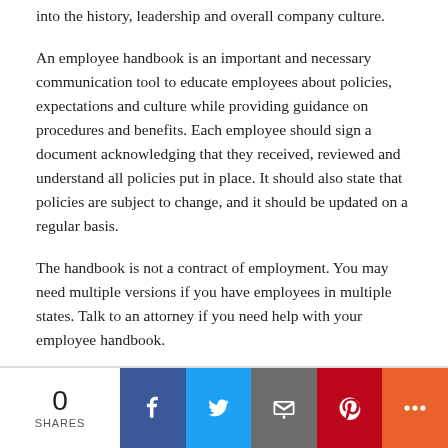into the history, leadership and overall company culture.
An employee handbook is an important and necessary communication tool to educate employees about policies, expectations and culture while providing guidance on procedures and benefits. Each employee should sign a document acknowledging that they received, reviewed and understand all policies put in place. It should also state that policies are subject to change, and it should be updated on a regular basis.
The handbook is not a contract of employment. You may need multiple versions if you have employees in multiple states. Talk to an attorney if you need help with your employee handbook.